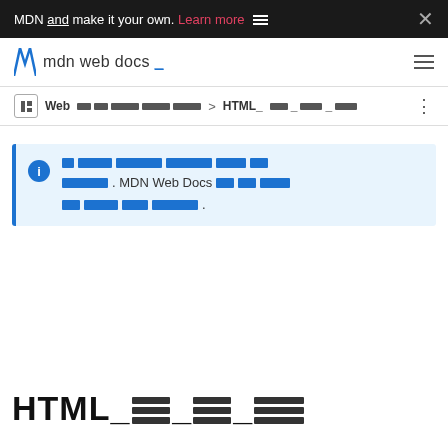MDN and make it your own. Learn more
MDN web docs
Web [redacted blocks] > HTML_[redacted blocks]
[Redacted CJK text]. MDN Web Docs[redacted CJK text].
HTML_[redacted blocks]